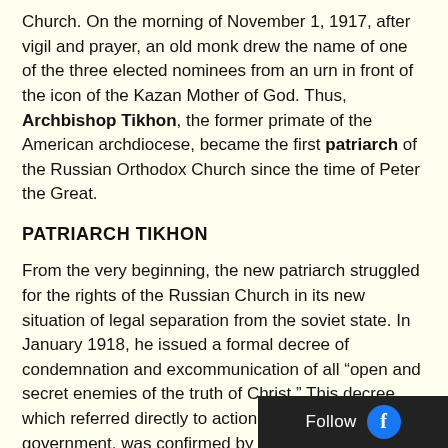Church. On the morning of November 1, 1917, after vigil and prayer, an old monk drew the name of one of the three elected nominees from an urn in front of the icon of the Kazan Mother of God. Thus, Archbishop Tikhon, the former primate of the American archdiocese, became the first patriarch of the Russian Orthodox Church since the time of Peter the Great.
PATRIARCH TIKHON
From the very beginning, the new patriarch struggled for the rights of the Russian Church in its new situation of legal separation from the soviet state. In January 1918, he issued a formal decree of condemnation and excommunication of all “open and secret enemies of the truth of Christ.” This decree, which referred directly to actions of the bolshevik government, was confirmed by the church council which was still in session.
Patriarch Tikhon also was arrested and brought to trial for his refusal to give up consecrated church vessels which the government demanded during the time of famine, ostensibly to feed the poor. The primate offered...